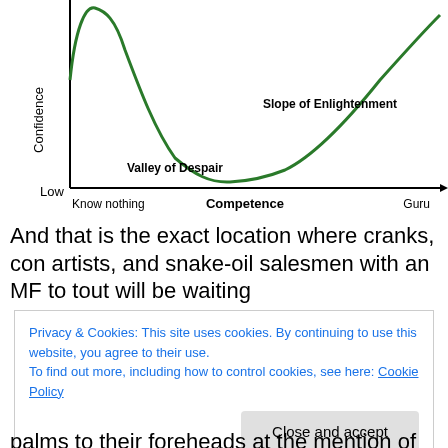[Figure (continuous-plot): Dunning-Kruger style curve showing Confidence (y-axis, Low at bottom) vs Competence (x-axis, from 'Know nothing' to 'Guru'). The green curve peaks sharply near 'Know nothing', drops to a 'Valley of Despair', then rises on the 'Slope of Enlightenment'. Labels: 'Valley of Despair', 'Slope of Enlightenment'.]
And that is the exact location where cranks, con artists, and snake-oil salesmen with an MF to tout will be waiting
Privacy & Cookies: This site uses cookies. By continuing to use this website, you agree to their use.
To find out more, including how to control cookies, see here: Cookie Policy
palms to their foreheads at the mention of Qanon; anyone